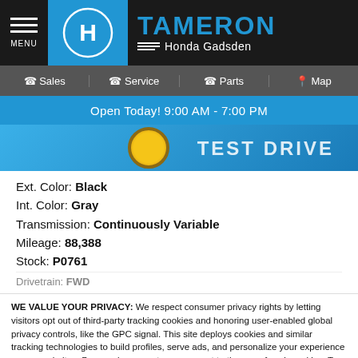[Figure (screenshot): Tameron Honda Gadsden dealership website header with Honda logo, navigation bar (Sales, Service, Parts, Map), blue open hours bar, and test drive banner image]
Ext. Color: Black
Int. Color: Gray
Transmission: Continuously Variable
Mileage: 88,388
Stock: P0761
WE VALUE YOUR PRIVACY: We respect consumer privacy rights by letting visitors opt out of third-party tracking cookies and honoring user-enabled global privacy controls, like the GPC signal. This site deploys cookies and similar tracking technologies to build profiles, serve ads, and personalize your experience across websites. By pressing accept, you consent to the use of such cookies. To manage your privacy rights or view the categories of personal information we collect and the purposes for which the information is used, click here.
Language: English
Powered by ComplyAuto